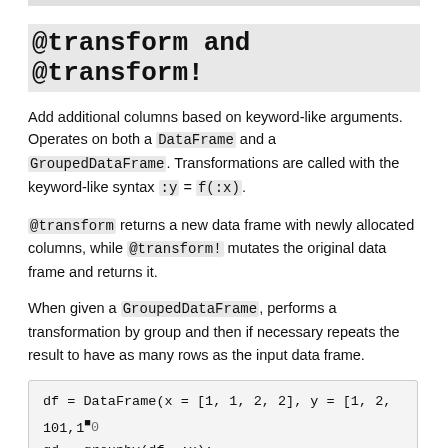@transform and @transform!
Add additional columns based on keyword-like arguments. Operates on both a DataFrame and a GroupedDataFrame. Transformations are called with the keyword-like syntax :y = f(:x).
@transform returns a new data frame with newly allocated columns, while @transform! mutates the original data frame and returns it.
When given a GroupedDataFrame, performs a transformation by group and then if necessary repeats the result to have as many rows as the input data frame.
df = DataFrame(x = [1, 1, 2, 2], y = [1, 2, 101, 10
gd = groupby(df, :x);
@transform(df, :x2 = 2 * :x, :y)